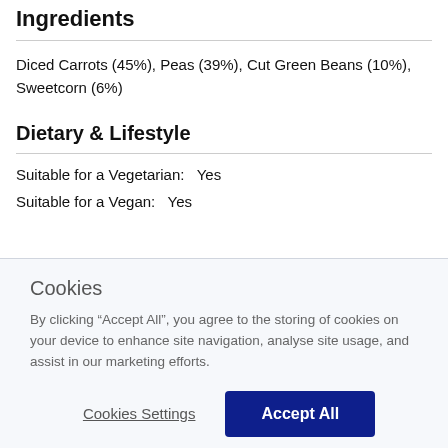Ingredients
Diced Carrots (45%), Peas (39%), Cut Green Beans (10%), Sweetcorn (6%)
Dietary & Lifestyle
Suitable for a Vegetarian:   Yes
Suitable for a Vegan:   Yes
Cookies
By clicking “Accept All”, you agree to the storing of cookies on your device to enhance site navigation, analyse site usage, and assist in our marketing efforts.
Cookies Settings
Accept All